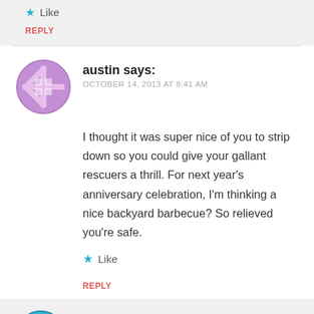Like
REPLY
austin says:
OCTOBER 14, 2013 AT 8:41 AM
I thought it was super nice of you to strip down so you could give your gallant rescuers a thrill. For next year’s anniversary celebration, I’m thinking a nice backyard barbecue? So relieved you’re safe.
Like
REPLY
cfrye says:
OCTOBER 14, 2013 AT 10:01 AM